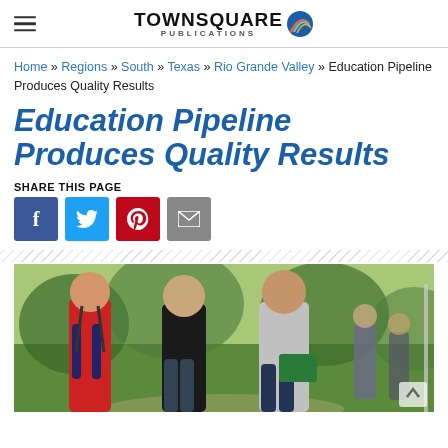TOWNSQUARE PUBLICATIONS
Home » Regions » South » Texas » Rio Grande Valley » Education Pipeline Produces Quality Results
Education Pipeline Produces Quality Results
SHARE THIS PAGE
[Figure (screenshot): Social share buttons: Facebook (blue), Twitter (light blue), Pinterest (red), Email (gray)]
[Figure (photo): Three male students walking outdoors on a campus, one wearing a red Abercrombie shirt, one in a black graphic tee, one in a gray polo holding a green notebook. Background shows green grass and trees with other students.]